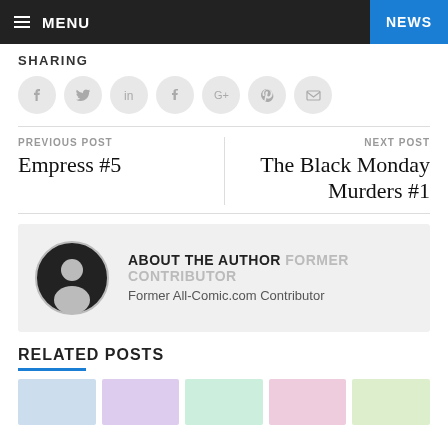MENU | NEWS
SHARING
[Figure (infographic): Social sharing icons row: Facebook, Twitter, LinkedIn, Tumblr, Google+, Pinterest, Email — each in a light grey circle]
PREVIOUS POST
Empress #5
NEXT POST
The Black Monday Murders #1
[Figure (infographic): Author box with avatar icon, ABOUT THE AUTHOR FORMER CONTRIBUTOR heading, and bio text: Former All-Comic.com Contributor]
RELATED POSTS
[Figure (infographic): Related posts thumbnail images row (partially visible at bottom)]